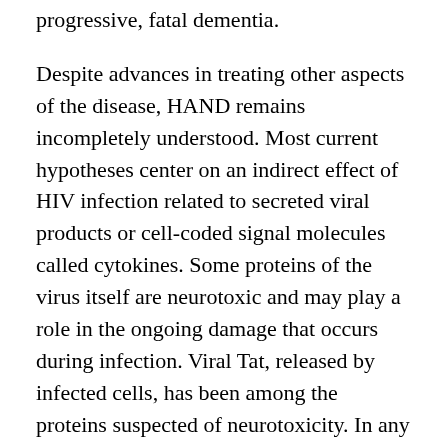progressive, fatal dementia.
Despite advances in treating other aspects of the disease, HAND remains incompletely understood. Most current hypotheses center on an indirect effect of HIV infection related to secreted viral products or cell-coded signal molecules called cytokines. Some proteins of the virus itself are neurotoxic and may play a role in the ongoing damage that occurs during infection. Viral Tat, released by infected cells, has been among the proteins suspected of neurotoxicity. In any case, HIV infection appears to be the prime mover in this disorder because antiretroviral treatment may prevent or reverse this condition in many patients.
Milder forms of HAND have been reported in 30 to 40 percent of HIV-infected people who are medically asymptomatic. In advanced disease, patients can develop increasing difficulty with concentration and memory and